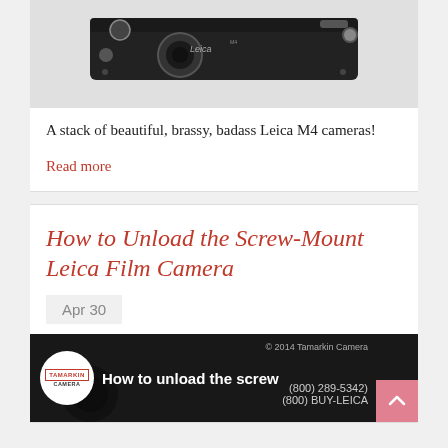[Figure (photo): Top portion of a Leica M4 camera body shown from above, black finish with gold/brass text markings]
A stack of beautiful, brassy, badass Leica M4 cameras!
Read more
How to Unload the Screw-Mount Leica Film Camera
Apr 30
[Figure (screenshot): Video thumbnail showing Tamarkin Camera logo and text 'How to unload the screw' with contact info '(800) 289-5342 / (800) BUY-LEICA' and watermark '© 2014 Tamarkin Camera']